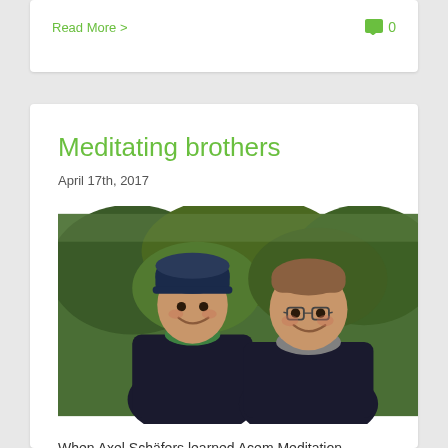Read More >
0
Meditating brothers
April 17th, 2017
[Figure (photo): Two middle-aged men smiling outdoors in front of trees. The man on the left wears a dark blue beanie hat and a green sweater under a dark jacket. The man on the right wears glasses and a dark jacket over a grey top.]
When Axel Schäfers learned Acem Meditation